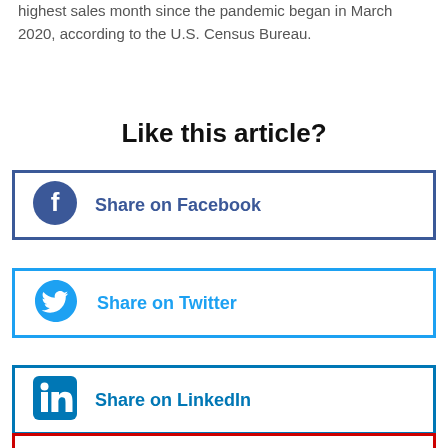highest sales month since the pandemic began in March 2020, according to the U.S. Census Bureau.
Like this article?
[Figure (other): Share on Facebook button with Facebook icon, dark blue border]
[Figure (other): Share on Twitter button with Twitter bird icon, light blue border]
[Figure (other): Share on LinkedIn button with LinkedIn icon, blue border]
[Figure (other): Partial Share on Reddit button with red border, cut off at bottom]